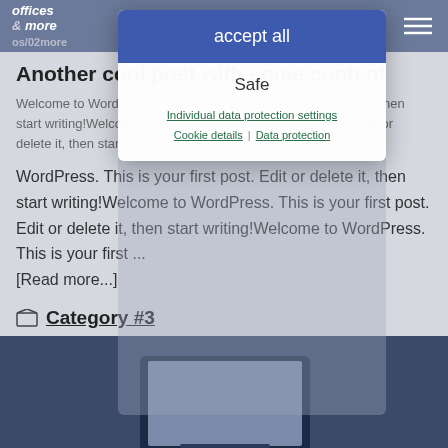offices & more / os/02more
Another cool post with some content
Welcome to WordPress. This is your first post. Edit or delete it, then start writing!Welcome to WordPress. This is your first post. Edit or delete it, then start writing!Welcome to WordPress. This is your first post. Edit or delete it, then start writing!Welcome to WordPress. This is your first ...
[Read more...]
Category #3
[Figure (screenshot): Cookie consent modal dialog overlaying a WordPress blog page. The modal has a blue 'accept all' button at top, then 'Safe' heading, then 'Individual data protection settings' link, then 'Cookie details | Data protection' links below.]
[Figure (photo): Bottom dark blue image area showing a laptop/monitor screen]